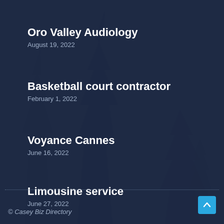Oro Valley Audiology
August 19, 2022
Basketball court contractor
February 1, 2022
Voyance Cannes
June 16, 2022
Limousine service
June 27, 2022
© Casey Biz Directory